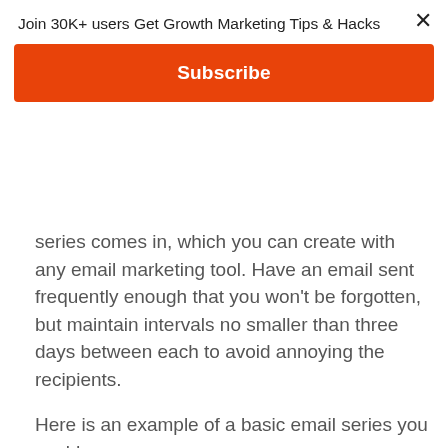Join 30K+ users Get Growth Marketing Tips & Hacks
Subscribe
series comes in, which you can create with any email marketing tool. Have an email sent frequently enough that you won't be forgotten, but maintain intervals no smaller than three days between each to avoid annoying the recipients.
Here is an example of a basic email series you could use:
Some time after your delivery email, ask your lead how they're experiencing the